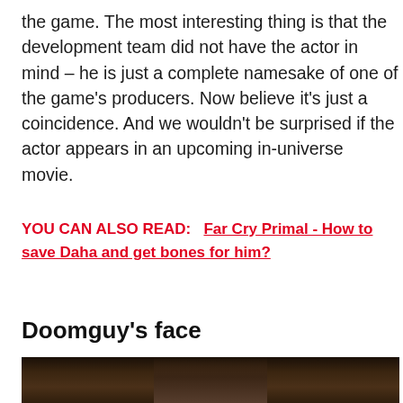the game. The most interesting thing is that the development team did not have the actor in mind – he is just a complete namesake of one of the game's producers. Now believe it's just a coincidence. And we wouldn't be surprised if the actor appears in an upcoming in-universe movie.
YOU CAN ALSO READ:   Far Cry Primal - How to save Daha and get bones for him?
Doomguy's face
[Figure (photo): Dark image showing a person/character in a dimly lit environment, partially visible at the bottom of the page]